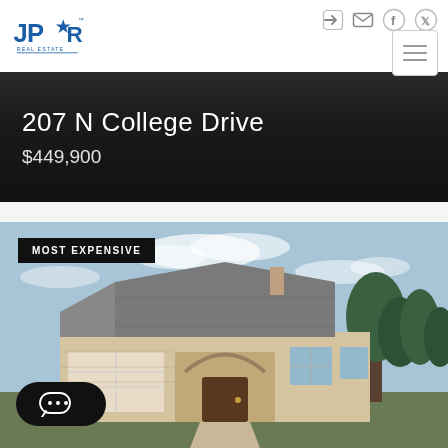[Figure (logo): JPAR Real Estate logo in blue with star]
207 N College Drive
$449,900
MOST EXPENSIVE
[Figure (photo): Exterior photo of a brick ranch-style house with arched entryway, two-car garage, and trees against a blue sky]